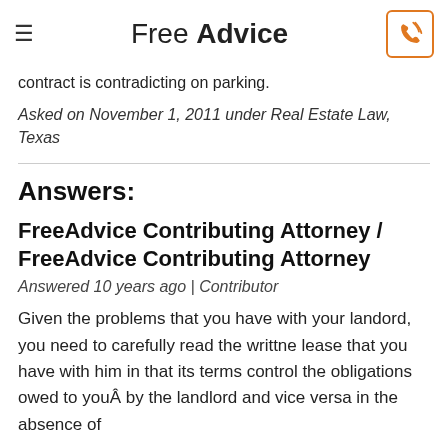Free Advice
contract is contradicting on parking.
Asked on November 1, 2011 under Real Estate Law, Texas
Answers:
FreeAdvice Contributing Attorney / FreeAdvice Contributing Attorney
Answered 10 years ago | Contributor
Given the problems that you have with your landord, you need to carefully read the writtne lease that you have with him in that its terms control the obligations owed to youÂ by the landlord and vice versa in the absence of